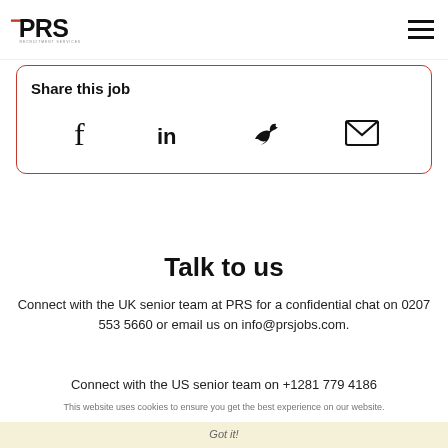PRS Recruitment Services
Share this job
[Figure (other): Social share icons: Facebook, LinkedIn, Twitter, Email]
Talk to us
Connect with the UK senior team at PRS for a confidential chat on 0207 553 5660 or email us on info@prsjobs.com.
Connect with the US senior team on +1281 779 4186
This website uses cookies to ensure you get the best experience on our website.
Got it!